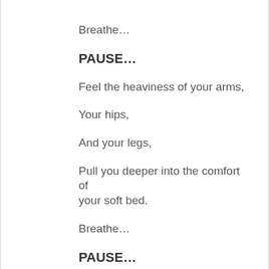Breathe…
PAUSE…
Feel the heaviness of your arms,
Your hips,
And your legs,
Pull you deeper into the comfort of your soft bed.
Breathe…
PAUSE…